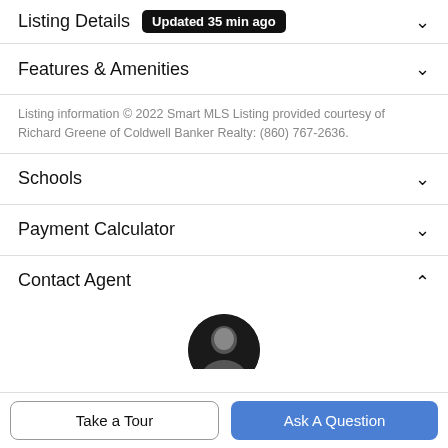Listing Details  Updated 35 min ago
Features & Amenities
Listing information © 2022 Smart MLS Listing provided courtesy of Richard Greene of Coldwell Banker Realty: (860) 767-2636.
Schools
Payment Calculator
Contact Agent
[Figure (photo): Circular agent profile photo, dark/black and white headshot]
Take a Tour
Ask A Question